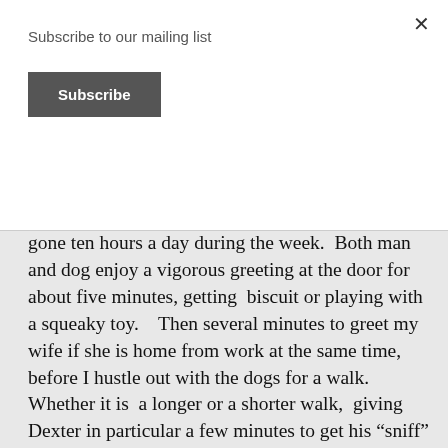Subscribe to our mailing list
Subscribe
gone ten hours a day during the week.  Both man and dog enjoy a vigorous greeting at the door for about five minutes, getting  biscuit or playing with a squeaky toy.    Then several minutes to greet my wife if she is home from work at the same time, before I hustle out with the dogs for a walk.  Whether it is  a longer or a shorter walk,  giving Dexter in particular a few minutes to get his “sniff” on – seems to make him happiest.  Walk done and mealtime taken in,  Comet thrives on several minutes of focused attention, petting and “good boy!” affirmations.